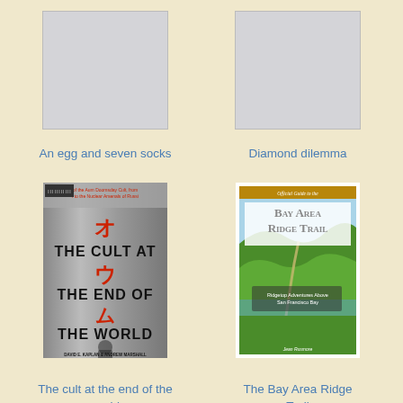[Figure (illustration): Book cover placeholder - gray rectangle for 'An egg and seven socks']
An egg and seven socks
[Figure (illustration): Book cover placeholder - gray rectangle for 'Diamond dilemma']
Diamond dilemma
[Figure (illustration): Book cover for 'The Cult at the End of the World' by David E. Kaplan & Andrew Marshall - gray metallic cover with red Japanese characters and bold black text]
The cult at the end of the world
[Figure (illustration): Book cover for 'The Bay Area Ridge Trail' - Official Guide showing green hills and landscape with golden title banner]
The Bay Area Ridge Trail